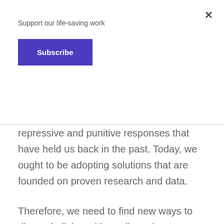Support our life-saving work
Subscribe
repressive and punitive responses that have held us back in the past. Today, we ought to be adopting solutions that are founded on proven research and data.
Therefore, we need to find new ways to disrupt bullying without disrupting children’s right to learn. We need to reform the curriculum to include different aspects of children’s development. We need to build